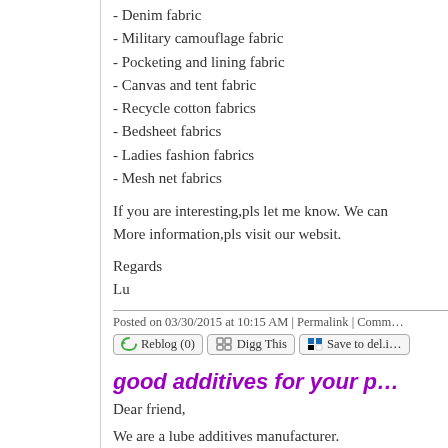- Denim fabric
- Military camouflage fabric
- Pocketing and lining fabric
- Canvas and tent fabric
- Recycle cotton fabrics
- Bedsheet fabrics
- Ladies fashion fabrics
- Mesh net fabrics
If you are interesting,pls let me know. We can More information,pls visit our websit.
Regards
Lu
Posted on 03/30/2015 at 10:15 AM | Permalink | Comm...
Reblog (0)  Digg This  Save to del.i...
good additives for your p...
Dear friend,
We are a lube additives manufacturer.
Our main product:
- TBN booster ①Cal% 15.0 min., made from lo...
- ZDDP (with Zn% 8.5 - 9.5%, and 9.5...